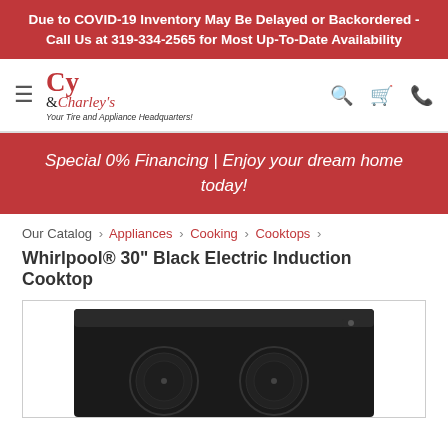Due to COVID-19 Inventory May Be Delayed or Backordered - Call Us at 319-334-2565 for Most Up-To-Date Availability
[Figure (logo): Cy & Charley's logo with tagline 'Your Tire and Appliance Headquarters!']
Special 0% Financing | Enjoy your dream home today!
Our Catalog › Appliances › Cooking › Cooktops ›
Whirlpool® 30" Black Electric Induction Cooktop
[Figure (photo): Black Whirlpool electric induction cooktop viewed from above, showing dark glass surface with circular induction zones]